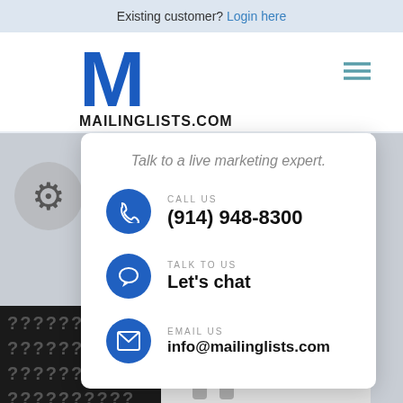Existing customer? Login here
[Figure (screenshot): Website screenshot of mailinglists.com showing navigation with large blue M logo, MAILINGLISTS.COM text, hamburger menu, and background imagery with gear icon and question marks]
Talk to a live marketing expert.
CALL US
(914) 948-8300
TALK TO US
Let's chat
EMAIL US
info@mailinglists.com